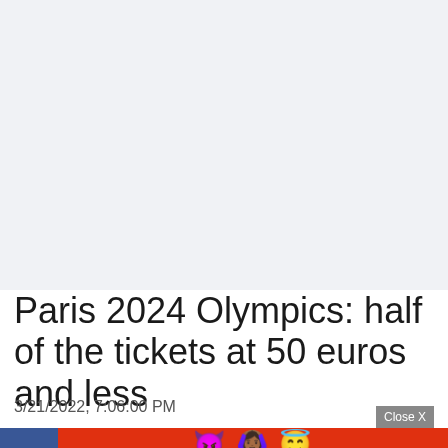Paris 2024 Olympics: half of the tickets at 50 euros and less
3/21/2022, 7:06:00 PM
[Figure (other): Advertisement banner: Facebook share button and BitLife mobile game ad with emojis and 'REAL CHOICES' text on red background]